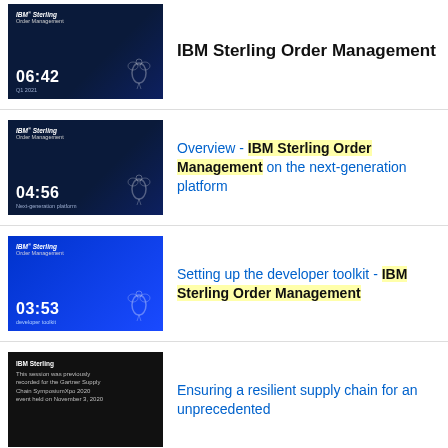[Figure (screenshot): Video thumbnail - dark navy background, IBM Sterling, 06:42 timestamp, bee logo, Q1 2021]
IBM Sterling Order Management
[Figure (screenshot): Video thumbnail - dark navy background, IBM Sterling Order Management, 04:56 timestamp, Next-generation platform, bee logo]
Overview - IBM Sterling Order Management on the next-generation platform
[Figure (screenshot): Video thumbnail - blue background, IBM Sterling Order Management, 03:53 timestamp, developer toolkit, bee logo]
Setting up the developer toolkit - IBM Sterling Order Management
[Figure (screenshot): Video thumbnail - black background, IBM Sterling, Gartner Supply Chain SymposiumXpo 2020]
Ensuring a resilient supply chain for an unprecedented...